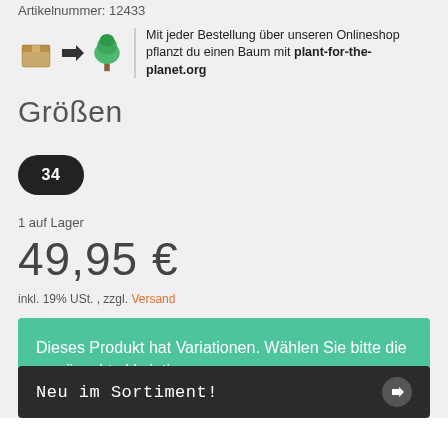Artikelnummer: 12433
[Figure (illustration): Box icon with arrow pointing to tree icon, with text: Mit jeder Bestellung über unseren Onlineshop pflanzt du einen Baum mit plant-for-the-planet.org]
Größen
34
1 auf Lager
49,95 €
inkl. 19% USt. , zzgl. Versand
Dieses Produkt hat Variationen. Wählen Sie bitte die gewünschte Variation aus.
Neu im Sortiment!